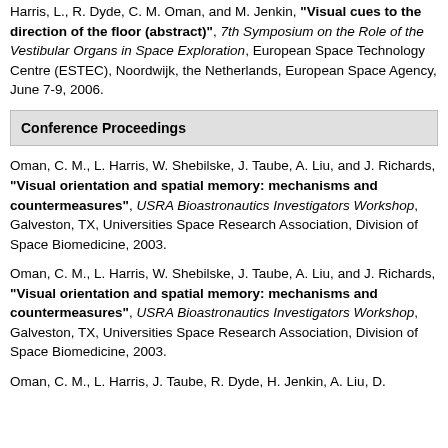Harris, L., R. Dyde, C. M. Oman, and M. Jenkin, "Visual cues to the direction of the floor (abstract)", 7th Symposium on the Role of the Vestibular Organs in Space Exploration, European Space Technology Centre (ESTEC), Noordwijk, the Netherlands, European Space Agency, June 7-9, 2006.
Conference Proceedings
Oman, C. M., L. Harris, W. Shebilske, J. Taube, A. Liu, and J. Richards, "Visual orientation and spatial memory: mechanisms and countermeasures", USRA Bioastronautics Investigators Workshop, Galveston, TX, Universities Space Research Association, Division of Space Biomedicine, 2003.
Oman, C. M., L. Harris, W. Shebilske, J. Taube, A. Liu, and J. Richards, "Visual orientation and spatial memory: mechanisms and countermeasures", USRA Bioastronautics Investigators Workshop, Galveston, TX, Universities Space Research Association, Division of Space Biomedicine, 2003.
Oman, C. M., L. Harris, J. Taube, R. Dyde, H. Jenkin, A. Liu, D.